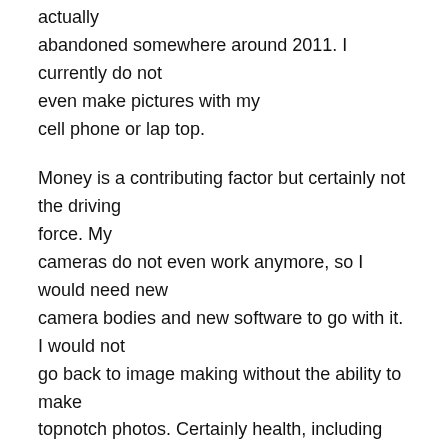actually abandoned somewhere around 2011. I currently do not even make pictures with my cell phone or lap top.
Money is a contributing factor but certainly not the driving force. My cameras do not even work anymore, so I would need new camera bodies and new software to go with it. I would not go back to image making without the ability to make topnotch photos. Certainly health, including vision and appearance is a reason as well. With that said, once again, I would rather not return unless I could make images that are truly good ones.
Just the same, I never say never, and all things are possible